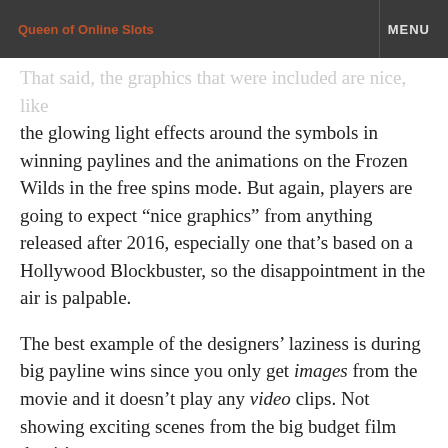Queen of Online Slots   MENU
That said, the graphics that were included are nice, like the glowing light effects around the symbols in winning paylines and the animations on the Frozen Wilds in the free spins mode. But again, players are going to expect “nice graphics” from anything released after 2016, especially one that’s based on a Hollywood Blockbuster, so the disappointment in the air is palpable.
The best example of the designers’ laziness is during big payline wins since you only get images from the movie and it doesn’t play any video clips. Not showing exciting scenes from the big budget film that it’s